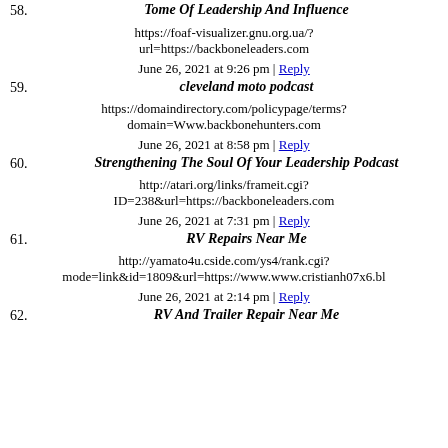58. Tome Of Leadership And Influence
https://foaf-visualizer.gnu.org.ua/?url=https://backboneleaders.com
June 26, 2021 at 9:26 pm | Reply
59. cleveland moto podcast
https://domaindirectory.com/policypage/terms?domain=Www.backbonehunters.com
June 26, 2021 at 8:58 pm | Reply
60. Strengthening The Soul Of Your Leadership Podcast
http://atari.org/links/frameit.cgi?ID=238&url=https://backboneleaders.com
June 26, 2021 at 7:31 pm | Reply
61. RV Repairs Near Me
http://yamato4u.cside.com/ys4/rank.cgi?mode=link&id=1809&url=https://www.www.cristianh07x6.bl
June 26, 2021 at 2:14 pm | Reply
62. RV And Trailer Repair Near Me